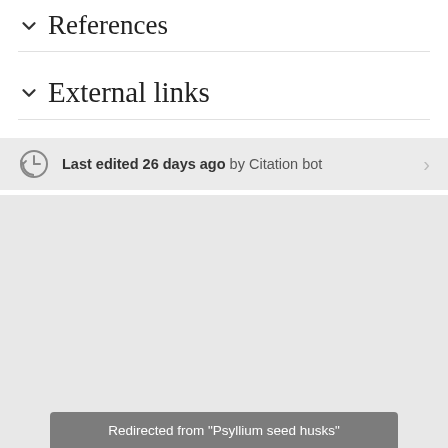References
External links
Last edited 26 days ago by Citation bot
Redirected from "Psyllium seed husks"